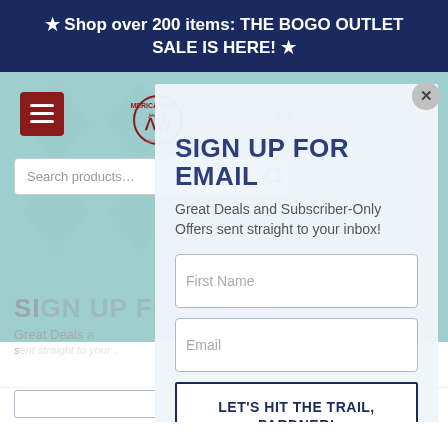★ Shop over 200 items: THE BOGO OUTLET SALE IS HERE! ★
[Figure (screenshot): American West Jewelry website header with teal geometric background, hamburger menu button, logo, user and cart icons, and search bar]
SIGN UP FOR EMAIL
Great Deals and Subscriber-Only Offers sent straight to your inbox!
First Name
Email
LET'S HIT THE TRAIL, PARDNER!